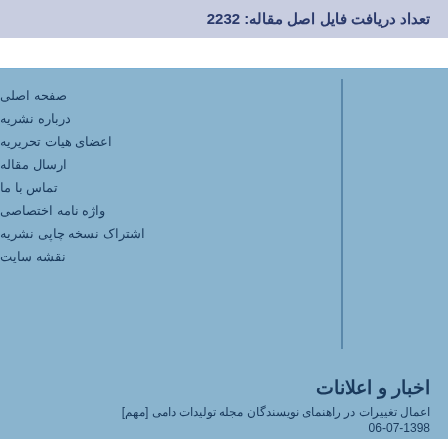تعداد دریافت فایل اصل مقاله: 2232
صفحه اصلی
درباره نشریه
اعضای هیات تحریریه
ارسال مقاله
تماس با ما
واژه نامه اختصاصی
اشتراک نسخه چاپی نشریه
نقشه سایت
اخبار و اعلانات
اعمال تغییرات در راهنمای نویسندگان مجله تولیدات دامی [مهم]
06-07-1398